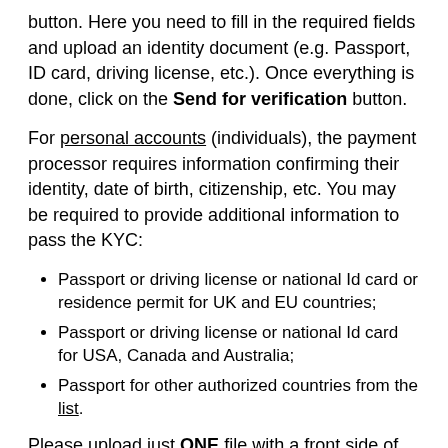button. Here you need to fill in the required fields and upload an identity document (e.g. Passport, ID card, driving license, etc.). Once everything is done, click on the Send for verification button.
For personal accounts (individuals), the payment processor requires information confirming their identity, date of birth, citizenship, etc. You may be required to provide additional information to pass the KYC:
Passport or driving license or national Id card or residence permit for UK and EU countries;
Passport or driving license or national Id card for USA, Canada and Australia;
Passport for other authorized countries from the list.
Please upload just ONE file with a front side of the